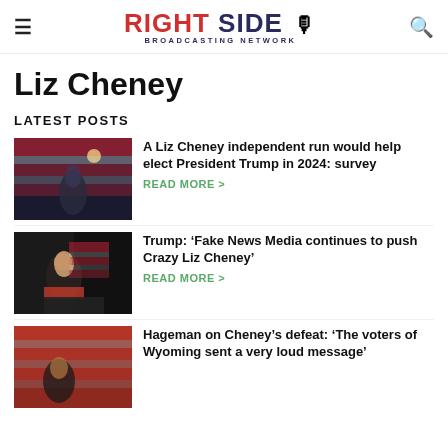Right Side Broadcasting Network
Liz Cheney
LATEST POSTS
[Figure (photo): Person standing in front of American flag on dark stage]
A Liz Cheney independent run would help elect President Trump in 2024: survey
READ MORE >
[Figure (photo): Trump speaking at podium with American flag]
Trump: ‘Fake News Media continues to push Crazy Liz Cheney’
READ MORE >
[Figure (photo): Woman speaking in front of American flag]
Hageman on Cheney’s defeat: ‘The voters of Wyoming sent a very loud message’